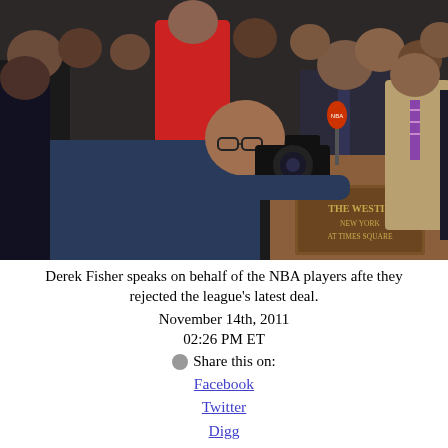[Figure (photo): Derek Fisher stands at a podium labeled 'The Westin New York at Times Square' speaking to media. Behind him is a crowd of NBA players. A cameraman is visible in the foreground.]
Derek Fisher speaks on behalf of the NBA players afte they rejected the league's latest deal.
November 14th, 2011
02:26 PM ET
Share this on:
Facebook
Twitter
Digg
del.icio.us
reddit
MySpace